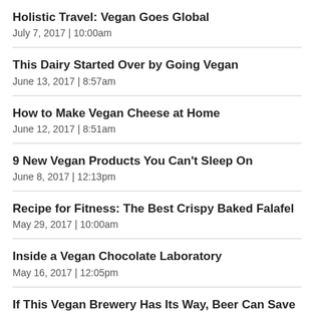Holistic Travel: Vegan Goes Global
July 7, 2017  |  10:00am
This Dairy Started Over by Going Vegan
June 13, 2017  |  8:57am
How to Make Vegan Cheese at Home
June 12, 2017  |  8:51am
9 New Vegan Products You Can't Sleep On
June 8, 2017  |  12:13pm
Recipe for Fitness: The Best Crispy Baked Falafel
May 29, 2017  |  10:00am
Inside a Vegan Chocolate Laboratory
May 16, 2017  |  12:05pm
If This Vegan Brewery Has Its Way, Beer Can Save the World
May 16, 2017  |  10:30am
Recipe for Fitness: Avoid Pain with this Cook...